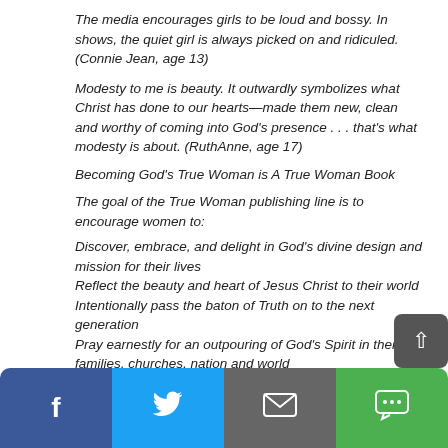The media encourages girls to be loud and bossy. In shows, the quiet girl is always picked on and ridiculed. (Connie Jean, age 13)
Modesty to me is beauty. It outwardly symbolizes what Christ has done to our hearts—made them new, clean and worthy of coming into God's presence . . . that's what modesty is about. (RuthAnne, age 17)
Becoming God's True Woman is A True Woman Book
The goal of the True Woman publishing line is to encourage women to:
Discover, embrace, and delight in God's divine design and mission for their lives
Reflect the beauty and heart of Jesus Christ to their world
Intentionally pass the baton of Truth on to the next generation
Pray earnestly for an outpouring of God's Spirit in their families, churches, nation and world
[Figure (other): Social sharing bar with Facebook, Twitter, email, and SMS buttons at the bottom of the page, and a scroll-to-top button.]